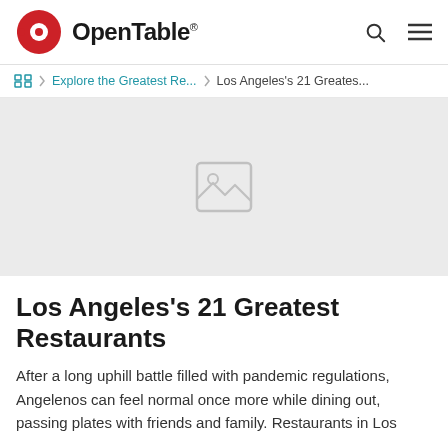OpenTable
Explore the Greatest Re... > Los Angeles's 21 Greates...
[Figure (photo): Hero image placeholder (broken image icon on light gray background)]
Los Angeles's 21 Greatest Restaurants
After a long uphill battle filled with pandemic regulations, Angelenos can feel normal once more while dining out, passing plates with friends and family. Restaurants in Los